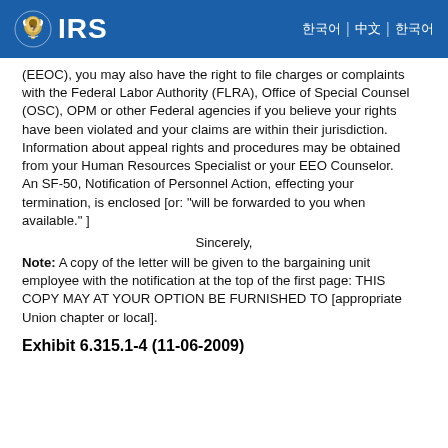IRS | 한국어 | 中文 | 한국어
(EEOC), you may also have the right to file charges or complaints with the Federal Labor Authority (FLRA), Office of Special Counsel (OSC), OPM or other Federal agencies if you believe your rights have been violated and your claims are within their jurisdiction. Information about appeal rights and procedures may be obtained from your Human Resources Specialist or your EEO Counselor. An SF-50, Notification of Personnel Action, effecting your termination, is enclosed [or: "will be forwarded to you when available." ]
Sincerely,
Note: A copy of the letter will be given to the bargaining unit employee with the notification at the top of the first page: THIS COPY MAY AT YOUR OPTION BE FURNISHED TO [appropriate Union chapter or local].
Exhibit 6.315.1-4 (11-06-2009)